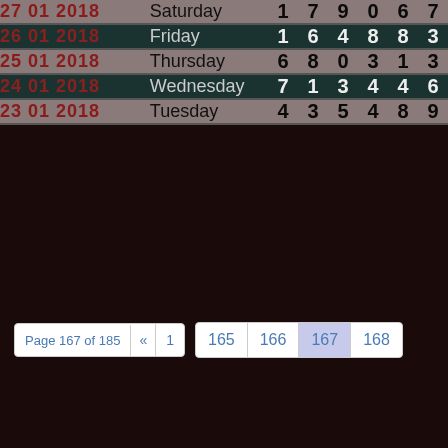| Date | Day | N1 | N2 | N3 | N4 | N5 | N6 |
| --- | --- | --- | --- | --- | --- | --- | --- |
| 27 01 2018 | Saturday | 1 | 7 | 9 | 0 | 6 | 7 |
| 26 01 2018 | Friday | 1 | 6 | 4 | 8 | 8 | 3 |
| 25 01 2018 | Thursday | 6 | 8 | 0 | 3 | 1 | 3 |
| 24 01 2018 | Wednesday | 7 | 1 | 3 | 4 | 4 | 6 |
| 23 01 2018 | Tuesday | 4 | 3 | 5 | 4 | 8 | 9 |
Page 167 of 185  «  1  165  166  167  168